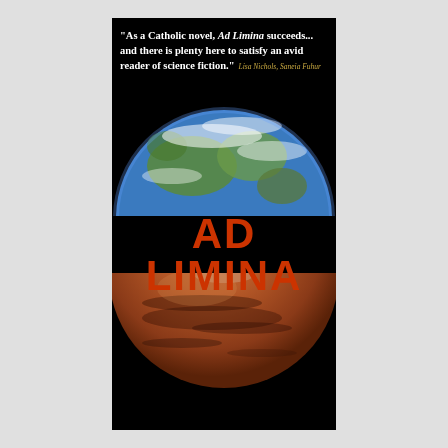"As a Catholic novel, Ad Limina succeeds... and there is plenty here to satisfy an avid reader of science fiction." Lisa Nichols, Sangia Fuhur
[Figure (illustration): Book cover for 'Ad Limina' showing a half-globe of Earth at top on black background, bold red title text 'AD LIMINA' in the middle, and a half-globe of Mars at the bottom]
AD LIMINA